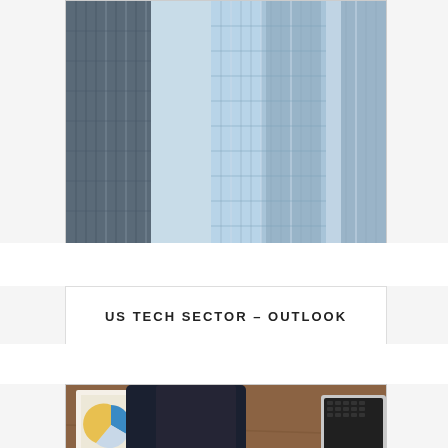[Figure (photo): Aerial/upward view of tall glass skyscrapers with blue sky, corporate architecture]
US TECH SECTOR – OUTLOOK
[Figure (photo): Overhead view of businessman's hands on a desk with financial charts, coffee cup, laptop keyboard, and documents including 'State of the Union' report]